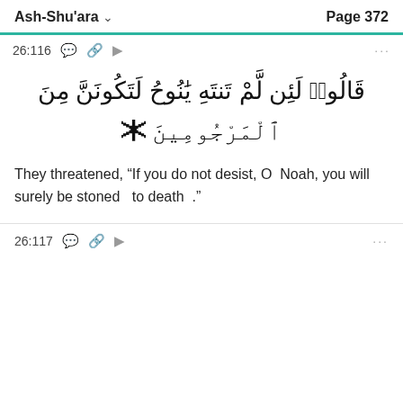Ash-Shu'ara   Page 372
26:116
قَالُوا۟ لَئِن لَّمْ تَنتَهِ يَٰنُوحُ لَتَكُونَنَّ مِنَ ٱلْمَرْجُومِينَ
They threatened, “If you do not desist, O  Noah, you will surely be stoned   to death .”
26:117